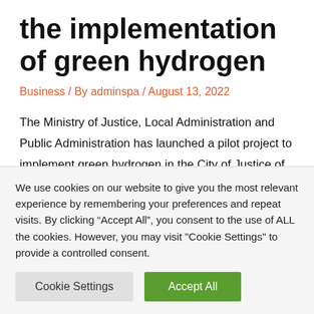the implementation of green hydrogen
Business / By adminspa / August 13, 2022
The Ministry of Justice, Local Administration and Public Administration has launched a pilot project to implement green hydrogen in the City of Justice of Malaga, which will turn it into a space 'cero emissions'within the Redeja Investment Plan to improve efficiency in public buildings such as courthouses and
We use cookies on our website to give you the most relevant experience by remembering your preferences and repeat visits. By clicking "Accept All", you consent to the use of ALL the cookies. However, you may visit "Cookie Settings" to provide a controlled consent.